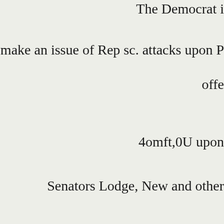The Democrat i
will make an issue of Rep sc. attacks upon P
offe
4omft,0U upon
Senators Lodge, New and other
"This is no tim
wrhinersor'btting
when every Ame
and child, shou
Presldent in hi
note was a masterpiece. o brit
other biter Repu